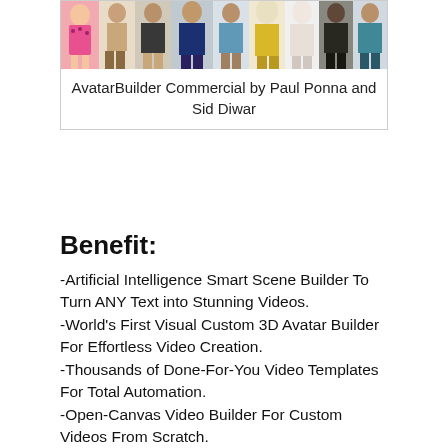[Figure (illustration): Row of cartoon 3D avatars/characters in various outfits and poses against a white background]
AvatarBuilder Commercial by Paul Ponna and Sid Diwar
Benefit:
-Artificial Intelligence Smart Scene Builder To Turn ANY Text into Stunning Videos.
-World's First Visual Custom 3D Avatar Builder For Effortless Video Creation.
-Thousands of Done-For-You Video Templates For Total Automation.
-Open-Canvas Video Builder For Custom Videos From Scratch.
-Award Winning Text-to-Speech With Hundreds of Voice in All Popular Languages and Accents
-Accurate Speech-To-Text Transcription To Turn Any Audio into Text For Multilingual Videos.
-Next-Generation Logo Mapping To Brand 3D